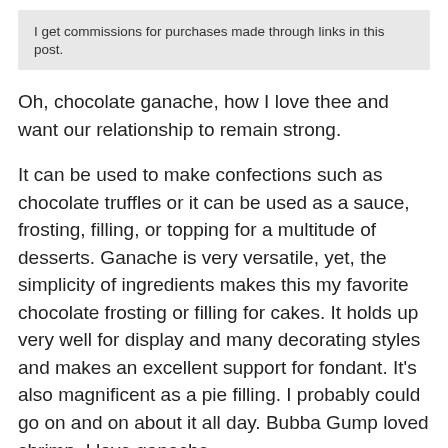I get commissions for purchases made through links in this post.
Oh, chocolate ganache, how I love thee and want our relationship to remain strong.
It can be used to make confections such as chocolate truffles or it can be used as a sauce, frosting, filling, or topping for a multitude of desserts. Ganache is very versatile, yet, the simplicity of ingredients makes this my favorite chocolate frosting or filling for cakes. It holds up very well for display and many decorating styles and makes an excellent support for fondant. It's also magnificent as a pie filling. I probably could go on and on about it all day. Bubba Gump loved shrimp, I love ganache.
My claim is fame is my Chocolate Lover's Chocolate Cake, pairing ganache with this chocolate cake from